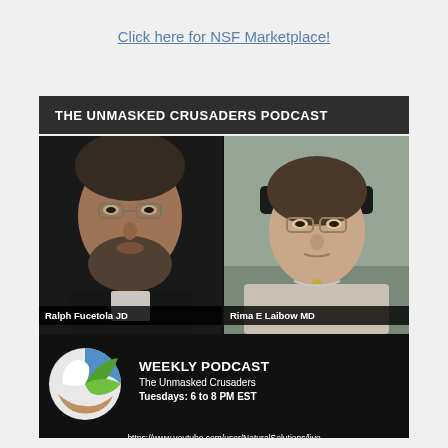Click here for NSF Marketplace!
THE UNMASKED CRUSADERS PODCAST
[Figure (photo): Two-panel photo showing Ralph Fucetola JD on the left (older man with beard and glasses) and Rima E Laibow MD on the right (woman with headphones and glasses), with a logo and weekly podcast schedule below reading: WEEKLY PODCAST The Unmasked Crusaders Tuesdays: 6 to 8 PM EST, https://www.youtube.com/user/NaturalSolutions/live]